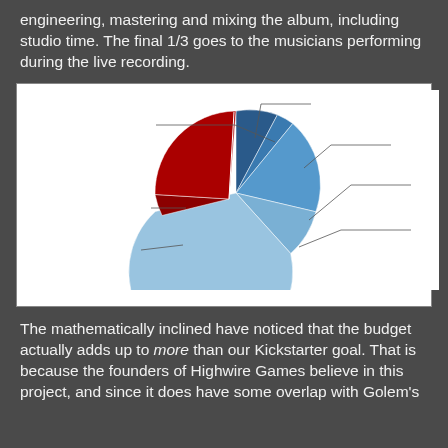engineering, mastering and mixing the album, including studio time. The final 1/3 goes to the musicians performing during the live recording.
[Figure (pie-chart): Budget Breakdown]
The mathematically inclined have noticed that the budget actually adds up to more than our Kickstarter goal. That is because the founders of Highwire Games believe in this project, and since it does have some overlap with Golem's